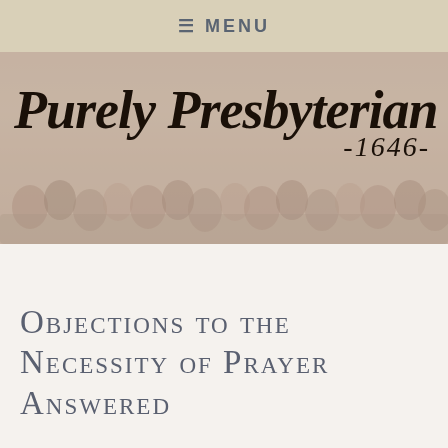≡ MENU
[Figure (illustration): Banner image for 'Purely Presbyterian -1646-' website, showing a faded historical painting of a crowd of people (likely a Presbyterian assembly) with the site title in bold italic script overlaid on top.]
Objections to the Necessity of Prayer Answered